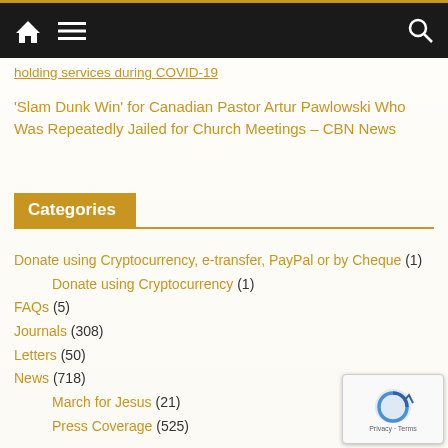Navigation bar with home, menu, and search icons
holding services during COVID-19
'Slam Dunk Win' for Canadian Pastor Artur Pawlowski Who Was Repeatedly Jailed for Church Meetings – CBN News
Categories
Donate using Cryptocurrency, e-transfer, PayPal or by Cheque (1)
Donate using Cryptocurrency (1)
FAQs (5)
Journals (308)
Letters (50)
News (718)
March for Jesus (21)
Press Coverage (525)